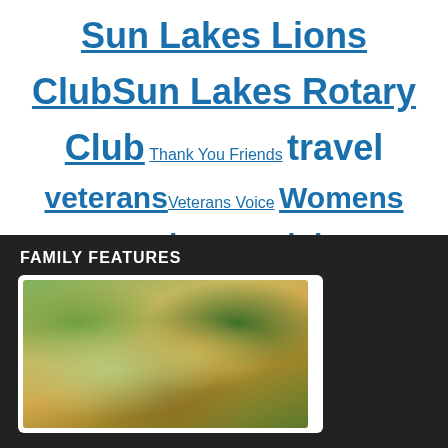Sun Lakes Lions Club Sun Lakes Rotary Club Thank You Friends travel veterans Veterans Voice Womens Exchange Club Writers Page writing
FAMILY FEATURES
[Figure (photo): Photo of breaded green vegetable fritters/bites piled on a plate, with a dipping sauce jar visible in background]